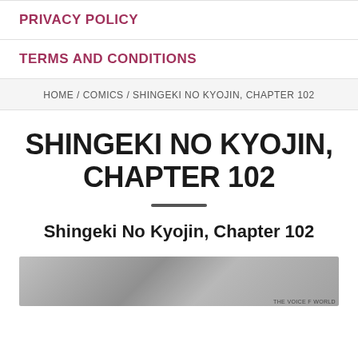PRIVACY POLICY
TERMS AND CONDITIONS
HOME / COMICS / SHINGEKI NO KYOJIN, CHAPTER 102
SHINGEKI NO KYOJIN, CHAPTER 102
Shingeki No Kyojin, Chapter 102
[Figure (illustration): Manga comic strip panel showing black and white illustrated scenes from Shingeki No Kyojin Chapter 102, with text watermark at bottom right.]